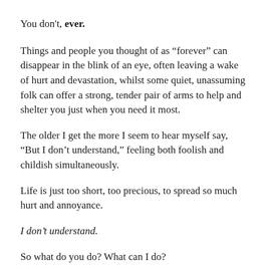You don't, ever.
Things and people you thought of as “forever” can disappear in the blink of an eye, often leaving a wake of hurt and devastation, whilst some quiet, unassuming folk can offer a strong, tender pair of arms to help and shelter you just when you need it most.
The older I get the more I seem to hear myself say, “But I don’t understand,” feeling both foolish and childish simultaneously.
Life is just too short, too precious, to spread so much hurt and annoyance.
I don’t understand.
So what do you do? What can I do?